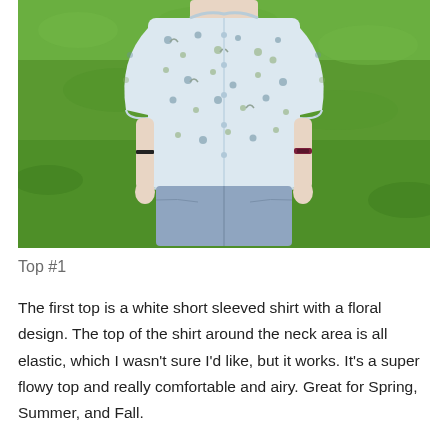[Figure (photo): Person wearing a white short-sleeved floral print shirt and light blue denim shorts, standing outdoors on green grass, shown from neck to mid-thigh.]
Top #1
The first top is a white short sleeved shirt with a floral design. The top of the shirt around the neck area is all elastic, which I wasn't sure I'd like, but it works. It's a super flowy top and really comfortable and airy. Great for Spring, Summer, and Fall.